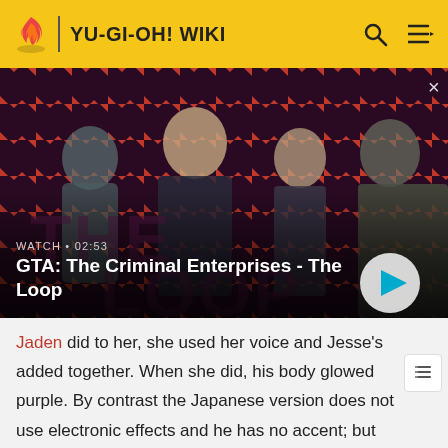YU-GI-OH! WIKI
[Figure (screenshot): GTA: The Criminal Enterprises - The Loop video thumbnail. Shows four characters (two men and a woman in front, and a masked armored soldier on the right) against a red and dark diagonal-striped background. Bottom-left shows 'WATCH • 02:53' and title 'GTA: The Criminal Enterprises - The Loop'. A play button is visible bottom-right. A close (×) button is top-right.]
Jaden did to her, she used her voice and Jesse's added together. When she did, his body glowed purple. By contrast the Japanese version does not use electronic effects and he has no accent; but his voice is darker while possessed.